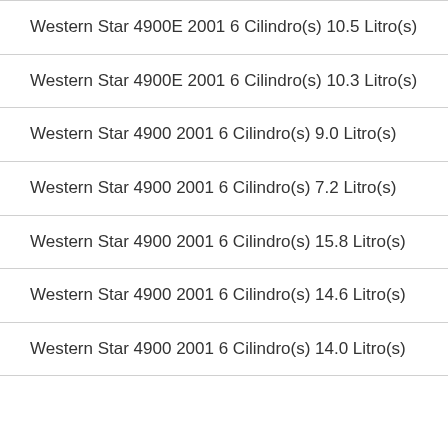Western Star 4900E 2001 6 Cilindro(s) 10.5 Litro(s)
Western Star 4900E 2001 6 Cilindro(s) 10.3 Litro(s)
Western Star 4900 2001 6 Cilindro(s) 9.0 Litro(s)
Western Star 4900 2001 6 Cilindro(s) 7.2 Litro(s)
Western Star 4900 2001 6 Cilindro(s) 15.8 Litro(s)
Western Star 4900 2001 6 Cilindro(s) 14.6 Litro(s)
Western Star 4900 2001 6 Cilindro(s) 14.0 Litro(s)